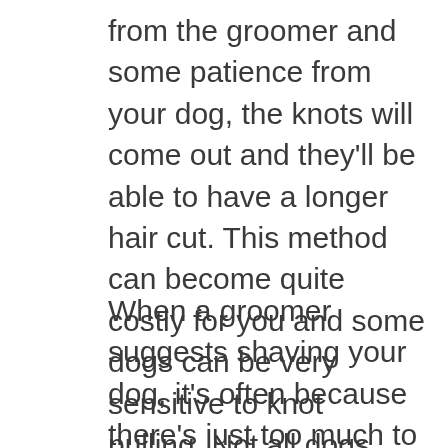from the groomer and some patience from your dog, the knots will come out and they'll be able to have a longer hair cut. This method can become quite costly for you and some dogs can be very sensitive to knot pulling. Not all dogs can handle it and other dogs don't even know it's happening. 😉
When a groomer suggests shaving your dog, it's often because there's just too much to brush out. I hope I can speak for all groomers when I say, we are not in this business to cause pain or discomfort to your dog. We've seen how painful matting can be and it hurts us to see your dog living with it. Most groomers are more than happy to help you look after your dogs coat and will show you how to brush and comb them to